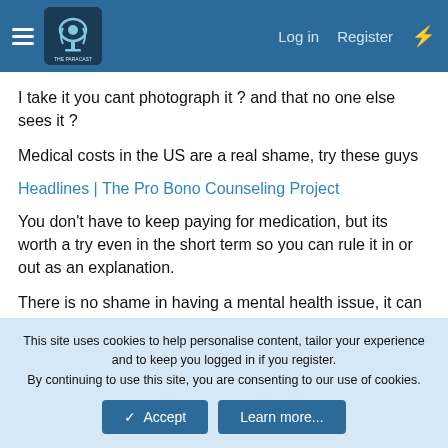The Paracast [navigation bar with Log in, Register links]
I take it you cant photograph it ? and that no one else sees it ?
Medical costs in the US are a real shame, try these guys
Headlines | The Pro Bono Counseling Project
You don't have to keep paying for medication, but its worth a try even in the short term so you can rule it in or out as an explanation.
There is no shame in having a mental health issue, it can strike anyone and like catching a cold or tripping and breaking a bone, There is no shame in it happening to you if that's what it is.
This site uses cookies to help personalise content, tailor your experience and to keep you logged in if you register.
By continuing to use this site, you are consenting to our use of cookies.